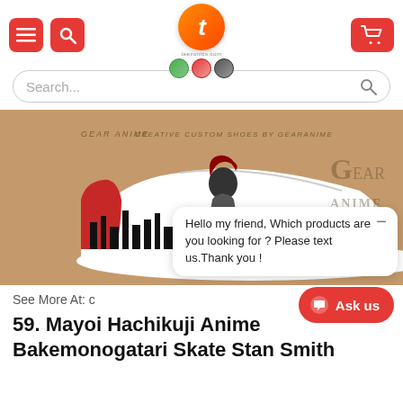Navigation header with menu, search, logo, and cart icons
Search...
[Figure (photo): Custom anime Skate Stan Smith sneaker with Mayoi Hachikuji character from Bakemonogatari on white shoe with city skyline silhouette and red heel, displayed against a brown cardboard Gear Anime box.]
Hello my friend, Which products are you looking for ? Please text us.Thank you !
See More At: c
59. Mayoi Hachikuji Anime Bakemonogatari Skate Stan Smith